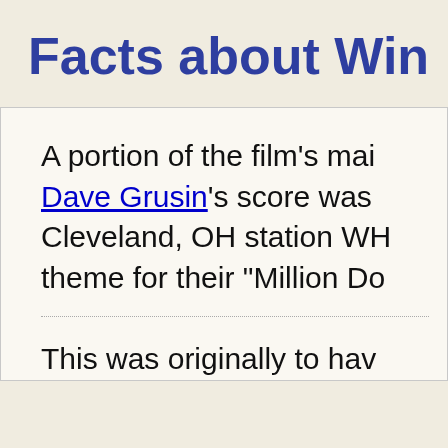Facts about Win...
A portion of the film's mai... Dave Grusin's score was ... Cleveland, OH station WH... theme for their "Million Do...
This was originally to hav...